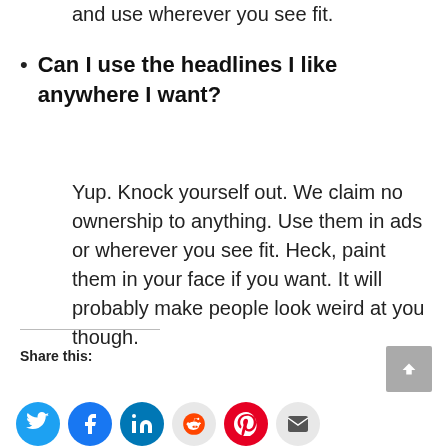and use wherever you see fit.
Can I use the headlines I like anywhere I want?
Yup. Knock yourself out. We claim no ownership to anything. Use them in ads or wherever you see fit. Heck, paint them in your face if you want. It will probably make people look weird at you though.
Share this: